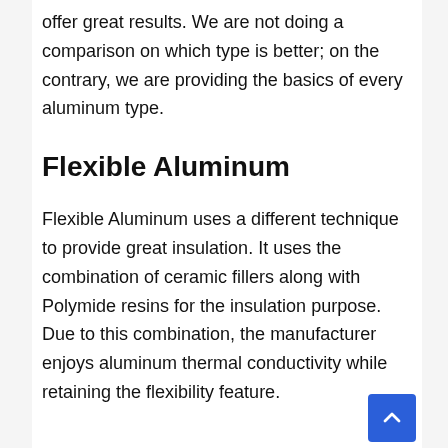offer great results. We are not doing a comparison on which type is better; on the contrary, we are providing the basics of every aluminum type.
Flexible Aluminum
Flexible Aluminum uses a different technique to provide great insulation. It uses the combination of ceramic fillers along with Polymide resins for the insulation purpose. Due to this combination, the manufacturer enjoys aluminum thermal conductivity while retaining the flexibility feature.